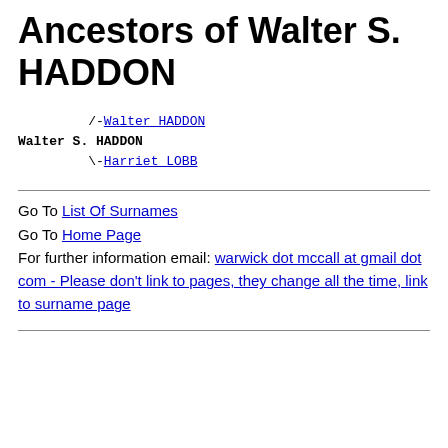Ancestors of Walter S. HADDON
/-Walter HADDON
Walter S. HADDON
\-Harriet LOBB
Go To List Of Surnames
Go To Home Page
For further information email: warwick dot mccall at gmail dot com - Please don't link to pages, they change all the time, link to surname page